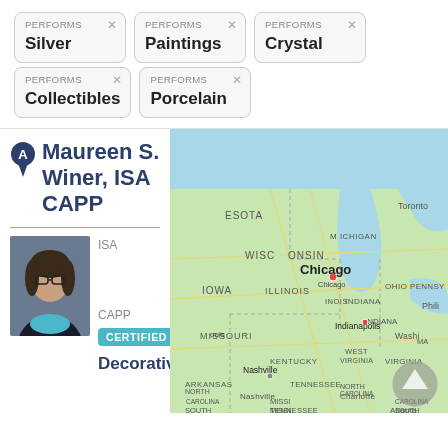PERFORMS Silver
PERFORMS Paintings
PERFORMS Crystal
PERFORMS Collectibles
PERFORMS Porcelain
Maureen S. Winer, ISA CAPP
[Figure (map): Map showing Midwestern United States including Wisconsin, Michigan, Indiana, Illinois, Ohio, Missouri, Kentucky, and surrounding regions with Chicago marked prominently]
ISA
CAPP
CERTIFIED
Decorative